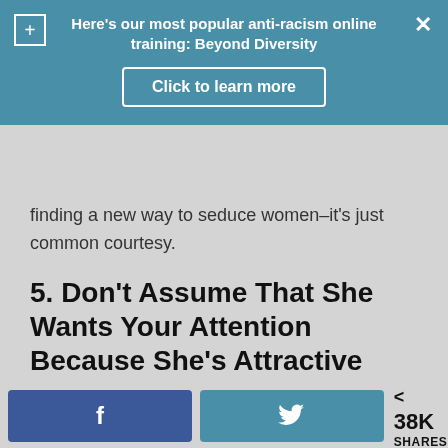[Figure (screenshot): Teal/blue promotional banner overlay with plus icon, close X, bold white text 'Here’s our most popular anti-racism online training: Beyond Diversity', and a white-bordered 'Click to learn more' button]
finding a new way to seduce women–it’s just common courtesy.
5. Don’t Assume That She Wants Your Attention Because She’s Attractive and In Public
Women who wear heavy makeup, push-up bras, heels, or other “sexualized” clothing in public aren’t necessarily looking for the attention of every man in the room. And even if she is, this doesn’t mean that
f  [Facebook share button]  [Twitter share button]  < 38K SHARES